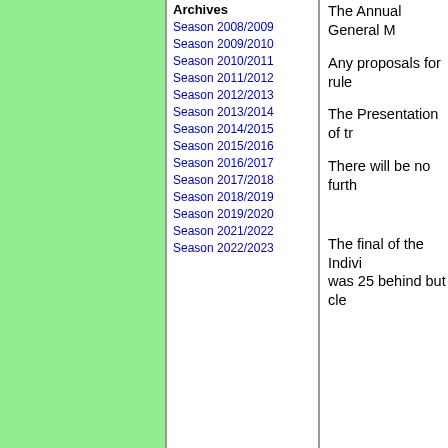Archives
Season 2008/2009
Season 2009/2010
Season 2010/2011
Season 2011/2012
Season 2012/2013
Season 2013/2014
Season 2014/2015
Season 2015/2016
Season 2016/2017
Season 2017/2018
Season 2018/2019
Season 2019/2020
Season 2021/2022
Season 2022/2023
The Annual General M
Any proposals for rule
The Presentation of tr
There will be no furth
The final of the Indivi was 25 behind but cle